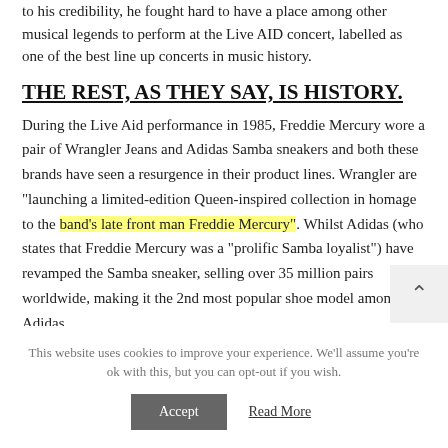to his credibility, he fought hard to have a place among other musical legends to perform at the Live AID concert, labelled as one of the best line up concerts in music history.
THE REST, AS THEY SAY, IS HISTORY.
During the Live Aid performance in 1985, Freddie Mercury wore a pair of Wrangler Jeans and Adidas Samba sneakers and both these brands have seen a resurgence in their product lines. Wrangler are "launching a limited-edition Queen-inspired collection in homage to the band's late front man Freddie Mercury". Whilst Adidas (who states that Freddie Mercury was a "prolific Samba loyalist") have revamped the Samba sneaker, selling over 35 million pairs worldwide, making it the 2nd most popular shoe model among all Adidas...
This website uses cookies to improve your experience. We'll assume you're ok with this, but you can opt-out if you wish.